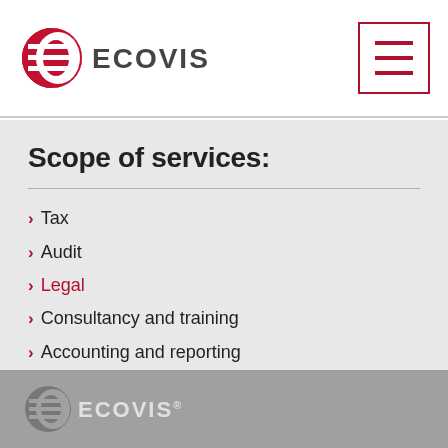ECOVIS
Scope of services:
Tax
Audit
Legal
Consultancy and training
Accounting and reporting
ECOVIS